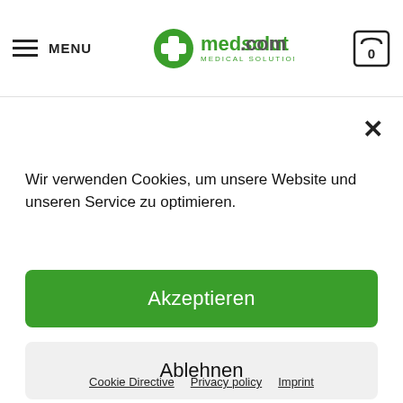MENU | medsolut.com MEDICAL SOLUTIONS | 0
Heating plate for laboratory
Wir verwenden Cookies, um unsere Website und unseren Service zu optimieren.
Akzeptieren
Ablehnen
Einstellen
Cookie Directive   Privacy policy   Imprint